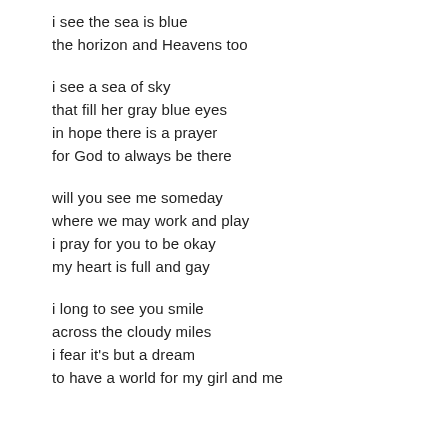i see the sea is blue
the horizon and Heavens too
i see a sea of sky
that fill her gray blue eyes
in hope there is a prayer
for God to always be there
will you see me someday
where we may work and play
i pray for you to be okay
my heart is full and gay
i long to see you smile
across the cloudy miles
i fear it's but a dream
to have a world for my girl and me